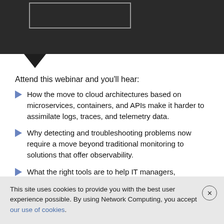[Figure (screenshot): Dark background image area with a light rectangular outline box, partially visible at top of page]
Attend this webinar and you'll hear:
How the move to cloud architectures based on microservices, containers, and APIs make it harder to assimilate logs, traces, and telemetry data.
Why detecting and troubleshooting problems now require a move beyond traditional monitoring to solutions that offer observability.
What the right tools are to help IT managers,
This site uses cookies to provide you with the best user experience possible. By using Network Computing, you accept our use of cookies.